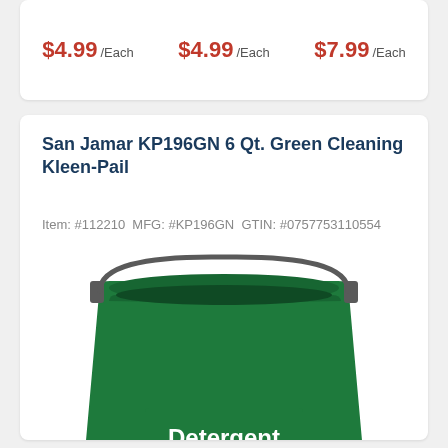$4.99 /Each   $4.99 /Each   $7.99 /Each
San Jamar KP196GN 6 Qt. Green Cleaning Kleen-Pail
Item: #112210  MFG: #KP196GN  GTIN: #0757753110554
[Figure (photo): Green plastic cleaning pail labeled Detergent / Détergent with Do NOT Use For Food / NE PAS utiliser pour des aliments text]